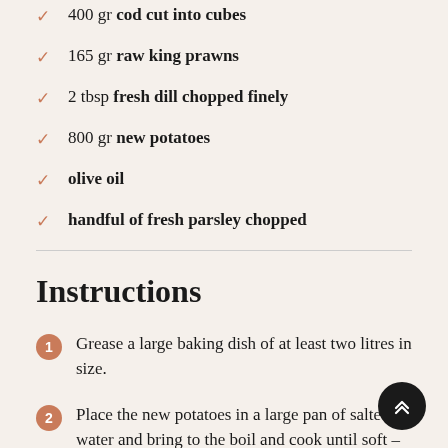400 gr cod cut into cubes
165 gr raw king prawns
2 tbsp fresh dill chopped finely
800 gr new potatoes
olive oil
handful of fresh parsley chopped
Instructions
Grease a large baking dish of at least two litres in size.
Place the new potatoes in a large pan of salted water and bring to the boil and cook until soft –